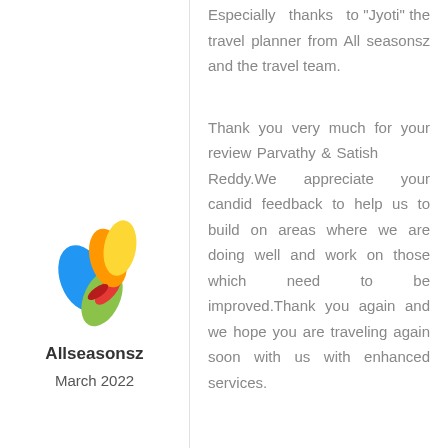Especially thanks to "Jyoti" the travel planner from All seasonsz and the travel team.
[Figure (logo): Allseasonsz logo with colorful leaf/butterfly design in blue, yellow, orange, green, and red]
Allseasonsz
March 2022
Thank you very much for your review Parvathy & Satish Reddy.We appreciate your candid feedback to help us to build on areas where we are doing well and work on those which need to be improved.Thank you again and we hope you are traveling again soon with us with enhanced services.